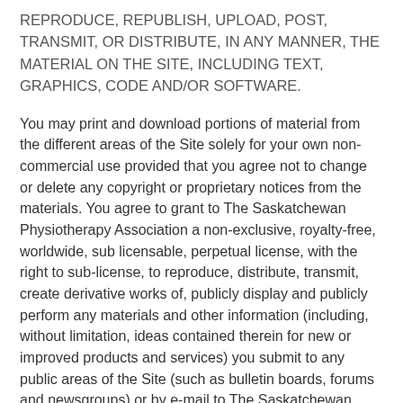REPRODUCE, REPUBLISH, UPLOAD, POST, TRANSMIT, OR DISTRIBUTE, IN ANY MANNER, THE MATERIAL ON THE SITE, INCLUDING TEXT, GRAPHICS, CODE AND/OR SOFTWARE.
You may print and download portions of material from the different areas of the Site solely for your own non-commercial use provided that you agree not to change or delete any copyright or proprietary notices from the materials. You agree to grant to The Saskatchewan Physiotherapy Association a non-exclusive, royalty-free, worldwide, sub licensable, perpetual license, with the right to sub-license, to reproduce, distribute, transmit, create derivative works of, publicly display and publicly perform any materials and other information (including, without limitation, ideas contained therein for new or improved products and services) you submit to any public areas of the Site (such as bulletin boards, forums and newsgroups) or by e-mail to The Saskatchewan Physiotherapy Association by all means and in any media now known or hereafter developed. You also grant to The Saskatchewan Physiotherapy Association the right to use